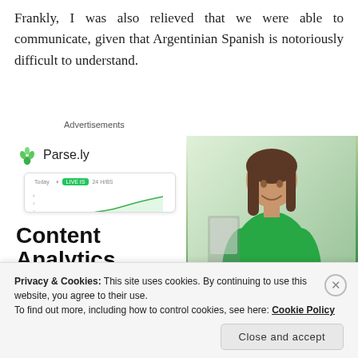Frankly, I was also relieved that we were able to communicate, given that Argentinian Spanish is notoriously difficult to understand.
Advertisements
[Figure (screenshot): Parse.ly advertisement showing 'Content Analytics Made Easy' with a dashboard screenshot and a smiling woman in a green top. Includes a green 'Get Started' button.]
Privacy & Cookies: This site uses cookies. By continuing to use this website, you agree to their use.
To find out more, including how to control cookies, see here: Cookie Policy
Close and accept